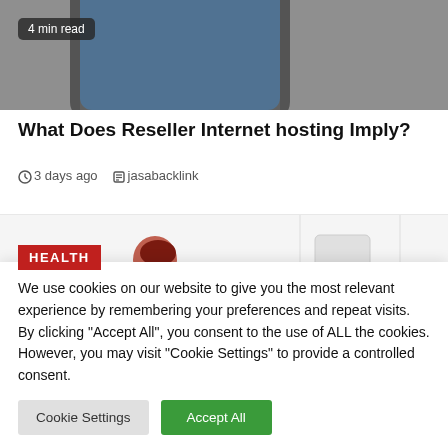[Figure (photo): Top portion of a webpage screenshot showing a dark background with a phone partially visible and a '4 min read' badge overlay]
What Does Reseller Internet hosting Imply?
3 days ago   jasabacklink
[Figure (illustration): Health category image strip showing illustrated characters: a person in red on the left with a HEALTH badge, a plant illustration in the middle, and a woman in brown sitting on the right]
We use cookies on our website to give you the most relevant experience by remembering your preferences and repeat visits. By clicking "Accept All", you consent to the use of ALL the cookies. However, you may visit "Cookie Settings" to provide a controlled consent.